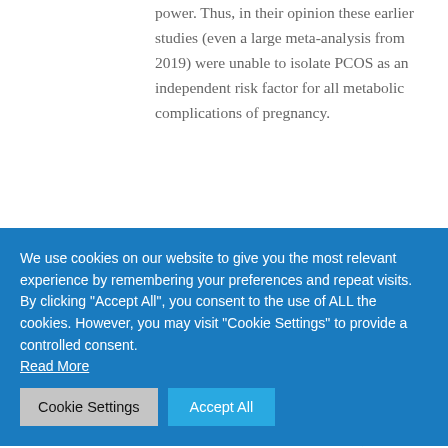power. Thus, in their opinion these earlier studies (even a large meta-analysis from 2019) were unable to isolate PCOS as an independent risk factor for all metabolic complications of pregnancy.
We use cookies on our website to give you the most relevant experience by remembering your preferences and repeat visits. By clicking "Accept All", you consent to the use of ALL the cookies. However, you may visit "Cookie Settings" to provide a controlled consent. Read More
There was also a higher rate if IVF conception in the PCOS women (2.4% vs. 0.1%) and more multiple pregnancies (5.9% vs. 1.5%), which seemed largely explained by IVF.